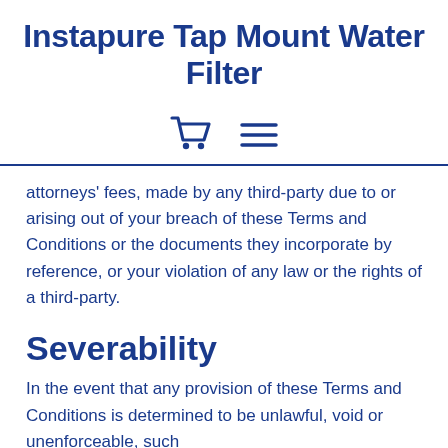Instapure Tap Mount Water Filter
[Figure (other): Shopping cart icon and hamburger menu icon]
attorneys' fees, made by any third-party due to or arising out of your breach of these Terms and Conditions or the documents they incorporate by reference, or your violation of any law or the rights of a third-party.
Severability
In the event that any provision of these Terms and Conditions is determined to be unlawful, void or unenforceable, such